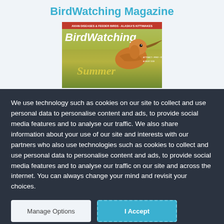BirdWatching Magazine
[Figure (illustration): BirdWatching magazine cover featuring a shorebird (curlew) with a long beak against a summer background. Text reads: AVIAN DISEASES & FEEDER BIRDS · ALASKA'S KITTIWAKES, BirdWatching, Summer]
We use technology such as cookies on our site to collect and use personal data to personalise content and ads, to provide social media features and to analyse our traffic. We also share information about your use of our site and interests with our partners who also use technologies such as cookies to collect and use personal data to personalise content and ads, to provide social media features and to analyse our traffic on our site and across the internet. You can always change your mind and revisit your choices.
Manage Options
I Accept